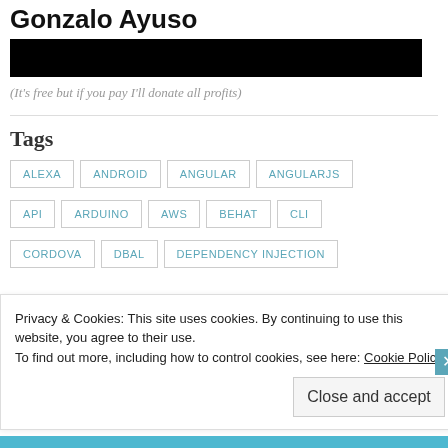Gonzalo Ayuso
[Figure (other): Black redacted bar covering content]
(It's free but if you pay I'll donate all profits)
Tags
ALEXA
ANDROID
ANGULAR
ANGULARJS
API
ARDUINO
AWS
BEHAT
CLI
CORDOVA
DBAL
DEPENDENCY INJECTION
Privacy & Cookies: This site uses cookies. By continuing to use this website, you agree to their use.
To find out more, including how to control cookies, see here: Cookie Policy
Close and accept